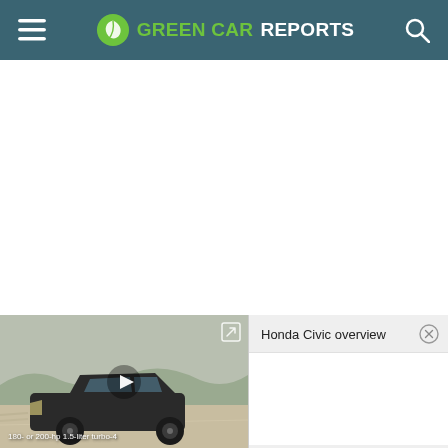GREEN CAR REPORTS
[Figure (screenshot): Video thumbnail showing a dark Honda Civic sedan driving on a road with mountains in background. Overlay shows play button and external link icon.]
180- or 200-hp 1.5-liter turbo-4
Honda Civic overview